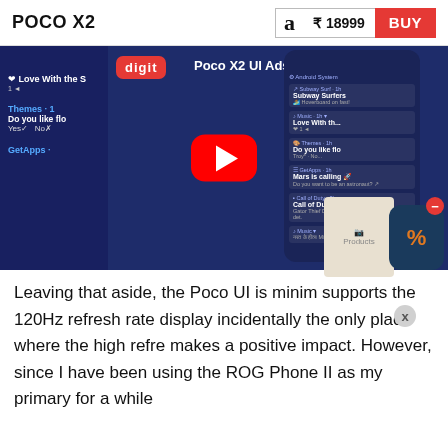POCO X2 | ₹ 18999 | BUY
[Figure (screenshot): Video thumbnail showing Poco X2 UI Ads review video by Digit, with YouTube play button overlay, phone notification panel on the right, and left panel showing app notifications including Love With the S, Themes, Do you like flo, Yes/No, GetApps]
[Figure (other): Advertisement overlay showing a discount/percentage app icon with a red close button and X dismiss button]
Leaving that aside, the Poco UI is minim supports the 120Hz refresh rate display incidentally the only place where the high refre makes a positive impact. However, since I have been using the ROG Phone II as my primary for a while